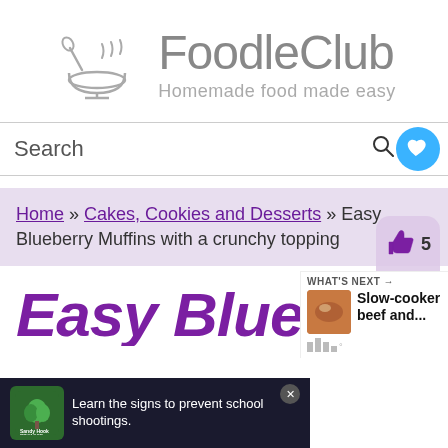[Figure (logo): FoodleClub logo: bowl with steam and spoon icon, grey text 'FoodleClub' with tagline 'Homemade food made easy']
Search
Home » Cakes, Cookies and Desserts » Easy Blueberry Muffins with a crunchy topping
Easy Blueberry
[Figure (screenshot): Advertisement banner: 'Learn the signs to prevent school shootings.' with Sandy Hook Promise logo]
[Figure (infographic): What's Next panel showing 'Slow-cooker beef and...' recommendation]